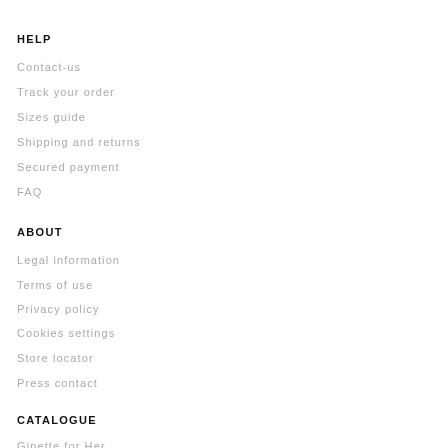HELP
Contact-us
Track your order
Sizes guide
Shipping and returns
Secured payment
FAQ
ABOUT
Legal information
Terms of use
Privacy policy
Cookies settings
Store locator
Press contact
CATALOGUE
Ginette for Her